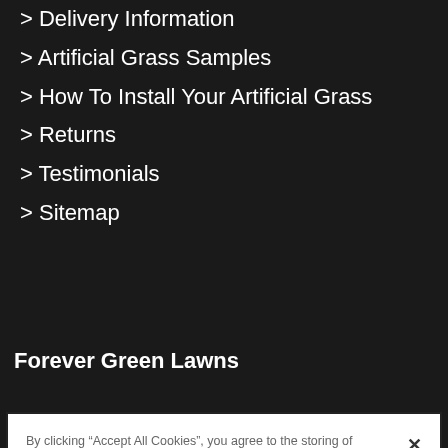> Delivery Information
> Artificial Grass Samples
> How To Install Your Artificial Grass
> Returns
> Testimonials
> Sitemap
Forever Green Lawns
By clicking “Accept All Cookies”, you agree to the storing of cookies on your device to enhance site navigation, analyze site usage, and assist in our marketing efforts.
Cookies Settings
Reject All
Accept All Cookies